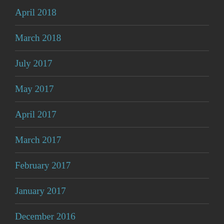April 2018
March 2018
July 2017
May 2017
April 2017
March 2017
February 2017
January 2017
December 2016